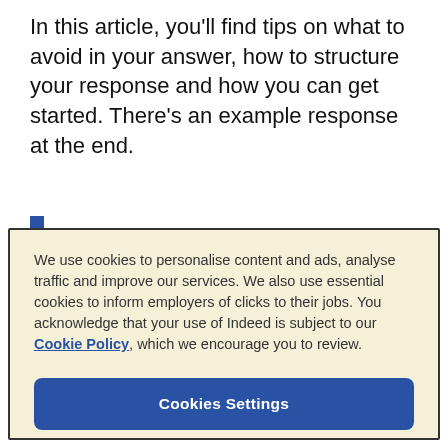In this article, you'll find tips on what to avoid in your answer, how to structure your response and how you can get started. There's an example response at the end.
We use cookies to personalise content and ads, analyse traffic and improve our services. We also use essential cookies to inform employers of clicks to their jobs. You acknowledge that your use of Indeed is subject to our Cookie Policy, which we encourage you to review.
Cookies Settings
Reject All
Accept All Cookies